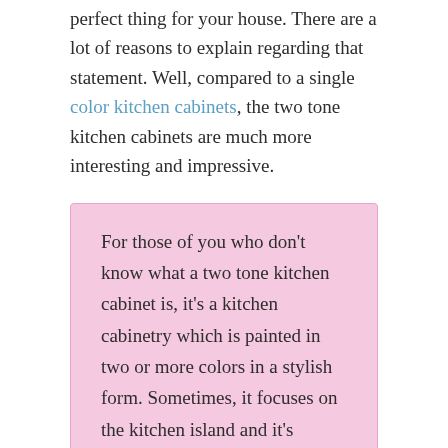perfect thing for your house. There are a lot of reasons to explain regarding that statement. Well, compared to a single color kitchen cabinets, the two tone kitchen cabinets are much more interesting and impressive.
For those of you who don't know what a two tone kitchen cabinet is, it's a kitchen cabinetry which is painted in two or more colors in a stylish form. Sometimes, it focuses on the kitchen island and it's painted differently than the rest of the kitchen. Some other times, it has some accent areas for a different color.
A lot of people may go with the single tone kitchen cabinets because of its simplicity and flexibility. But, if